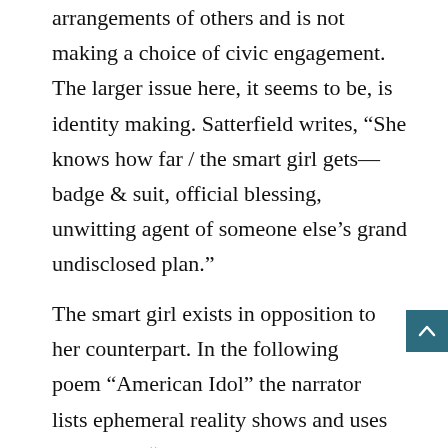arrangements of others and is not making a choice of civic engagement. The larger issue here, it seems to be, is identity making. Satterfield writes, “She knows how far / the smart girl gets—badge & suit, official blessing, unwitting agent of someone else’s grand undisclosed plan.”
The smart girl exists in opposition to her counterpart. In the following poem “American Idol” the narrator lists ephemeral reality shows and uses the phrase “Posh & Becks,” referencing the tabloid pet